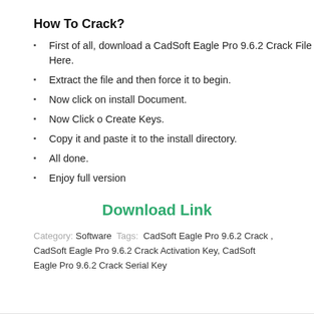How To Crack?
First of all, download a CadSoft Eagle Pro 9.6.2 Crack File Here.
Extract the file and then force it to begin.
Now click on install Document.
Now Click o Create Keys.
Copy it and paste it to the install directory.
All done.
Enjoy full version
Download Link
Category: Software  Tags: CadSoft Eagle Pro 9.6.2 Crack , CadSoft Eagle Pro 9.6.2 Crack Activation Key, CadSoft Eagle Pro 9.6.2 Crack Serial Key